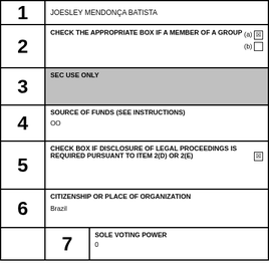| 1 | JOESLEY MENDONÇA BATISTA |
| 2 | CHECK THE APPROPRIATE BOX IF A MEMBER OF A GROUP  (a) [X]  (b) [ ] |
| 3 | SEC USE ONLY |
| 4 | SOURCE OF FUNDS (SEE INSTRUCTIONS)
OO |
| 5 | CHECK BOX IF DISCLOSURE OF LEGAL PROCEEDINGS IS REQUIRED PURSUANT TO ITEM 2(D) OR 2(E)  [X] |
| 6 | CITIZENSHIP OR PLACE OF ORGANIZATION
Brazil |
| 7 | SOLE VOTING POWER
0 |